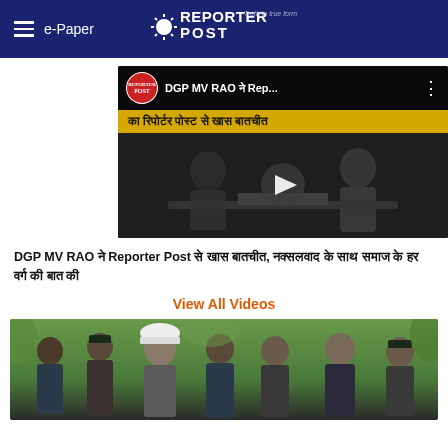e-Paper | Reporter Post
[Figure (screenshot): YouTube-style video thumbnail showing DGP MV RAO interview with Reporter Post. Top bar shows Reporter Post logo circle, title 'DGP MV RAO se Rep...' and three-dot menu. Yellow subtitle bar reads 'का रिपोर्टर पोस्ट से खास बातचीत'. Dark video scene with play button and two people seated at a table.]
DGP MV RAO ने Reporter Post से खास बातचीत, नक्सलवाद के साथ समाज के हर वर्ग की बात की
View All Videos
[Figure (photo): Outdoor photo showing a group of people including officials/police. A man in white helmet/hat is prominent in the center, surrounded by men in dark uniforms and civilian clothes. Lush green background.]